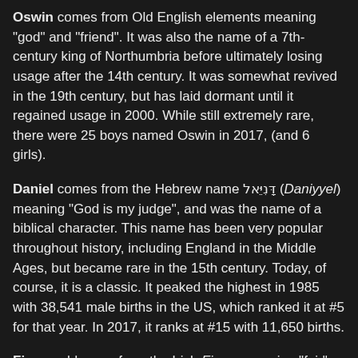Oswin comes from Old English elements meaning "god" and "friend". It was also the name of a 7th-century king of Northumbria before ultimately losing usage after the 14th century. It was somewhat revived in the 19th century, but has laid dormant until it regained usage in 2000. While still extremely rare, there were 25 boys named Oswin in 2017, (and 6 girls).
Daniel comes from the Hebrew name דָּנִיֵּאל (Daniyyel) meaning "God is my judge", and was the name of a biblical character. This name has been very popular throughout history, including England in the Middle Ages, but became rare in the 15th century. Today, of course, it is a classic. It peaked the highest in 1985 with 38,541 male births in the US, which ranked it at #5 for that year. In 2017, it ranks at #15 with 11,650 births.
Finn could come from the Irish Fionn, meaning "fair" or "white"; or from the Old Norse name Finnr which refers to a "person from Finland". Either way, Finn was relatively unused as a boy's name until 1953. It entered the Top 1000 in the year 2000, and has been climbing fast ever since! As